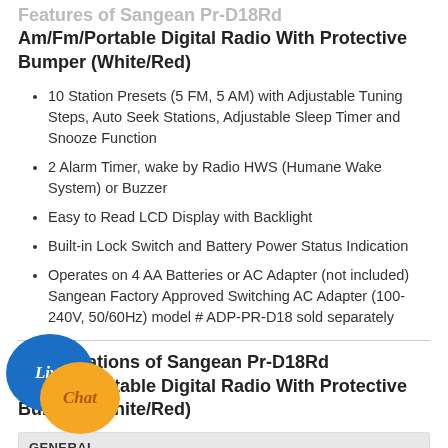Features of Sangean Pr-D18Rd Am/Fm/Portable Digital Radio With Protective Bumper (White/Red)
10 Station Presets (5 FM, 5 AM) with Adjustable Tuning Steps, Auto Seek Stations, Adjustable Sleep Timer and Snooze Function
2 Alarm Timer, wake by Radio HWS (Humane Wake System) or Buzzer
Easy to Read LCD Display with Backlight
Built-in Lock Switch and Battery Power Status Indication
Operates on 4 AA Batteries or AC Adapter (not included) Sangean Factory Approved Switching AC Adapter (100-240V, 50/60Hz) model # ADP-PR-D18 sold separately
Specifications of Sangean Pr-D18Rd Am/Fm/Portable Digital Radio With Protective Bumper (White/Red)
|  |  |
| --- | --- |
| Brand Name | Sangean |
| Color | White/Red |
| Size | clock |